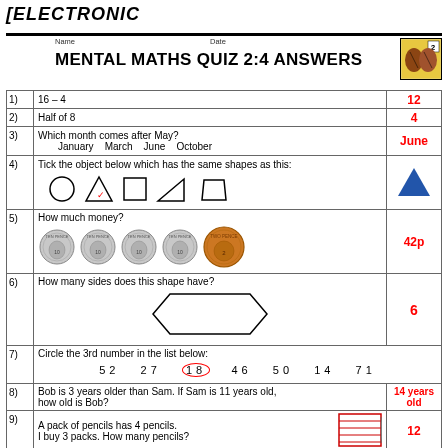[ELECTRONIC
Name   Date
MENTAL MATHS QUIZ 2:4 ANSWERS
| Q | Question | Answer |
| --- | --- | --- |
| 1) | 16 – 4 | 12 |
| 2) | Half of 8 | 4 |
| 3) | Which month comes after May?  January  March  June  October | June |
| 4) | Tick the object below which has the same shapes as this: [shapes] | [blue triangle] |
| 5) | How much money? [4 ten pence coins + 2p coin] | 42p |
| 6) | How many sides does this shape have? [hexagon] | 6 |
| 7) | Circle the 3rd number in the list below: 52  27  18  46  50  14  71 |  |
| 8) | Bob is 3 years older than Sam. If Sam is 11 years old, how old is Bob? | 14 years old |
| 9) | A pack of pencils has 4 pencils. I buy 3 packs. How many pencils? | 12 |
| 10) | Write down the number one hundred and seventy eight | 178 |